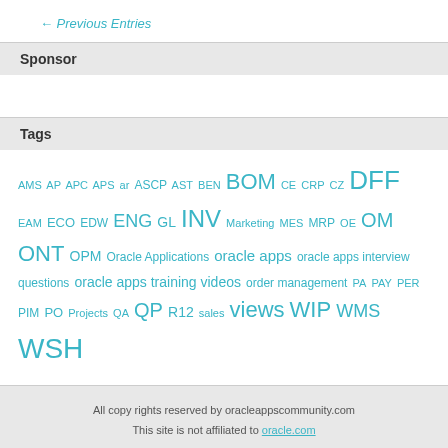← Previous Entries
Sponsor
Tags
AMS AP APC APS ar ASCP AST BEN BOM CE CRP CZ DFF EAM ECO EDW ENG GL INV Marketing MES MRP OE OM ONT OPM Oracle Applications oracle apps oracle apps interview questions oracle apps training videos order management PA PAY PER PIM PO Projects QA QP R12 sales views WIP WMS WSH
All copy rights reserved by oracleappscommunity.com
This site is not affiliated to oracle.com